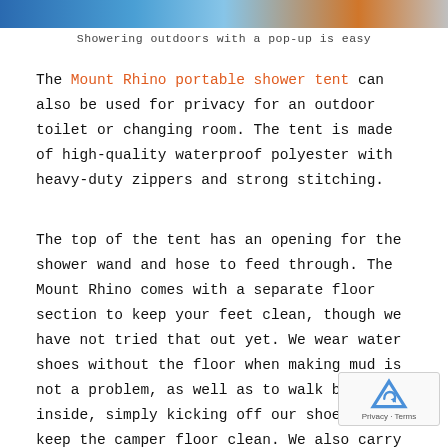[Figure (photo): Partial photo strip at top of page showing outdoor shower scene]
Showering outdoors with a pop-up is easy
The Mount Rhino portable shower tent can also be used for privacy for an outdoor toilet or changing room. The tent is made of high-quality waterproof polyester with heavy-duty zippers and strong stitching.
The top of the tent has an opening for the shower wand and hose to feed through. The Mount Rhino comes with a separate floor section to keep your feet clean, though we have not tried that out yet. We wear water shoes without the floor when making mud is not a problem, as well as to walk back inside, simply kicking off our shoes to keep the camper floor clean. We also carry a fake “grassy” welcome mat that works well to stand on while showering.